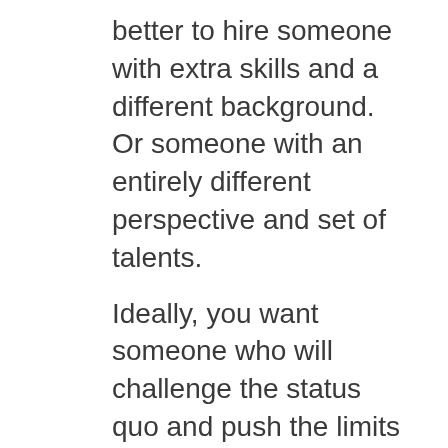better to hire someone with extra skills and a different background. Or someone with an entirely different perspective and set of talents.
Ideally, you want someone who will challenge the status quo and push the limits on what your team can accomplish. And you'll find that when you seek out partnerships with exponential growth potential.
PARTNERING WITH VOLUNTEERS
When you work with board members or volunteers, it's important that they